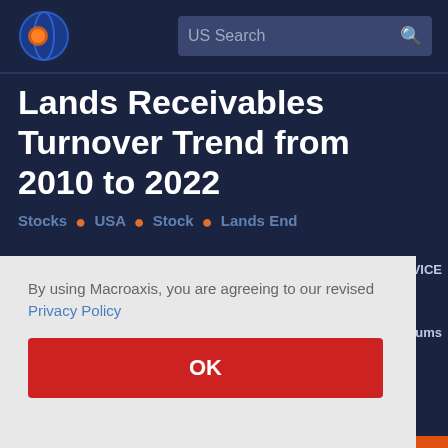US Search
Lands Receivables Turnover Trend from 2010 to 2022
Stocks . USA . Stock . Lands End
By using Macroaxis, you are agreeing to our revised Privacy Policy
OK